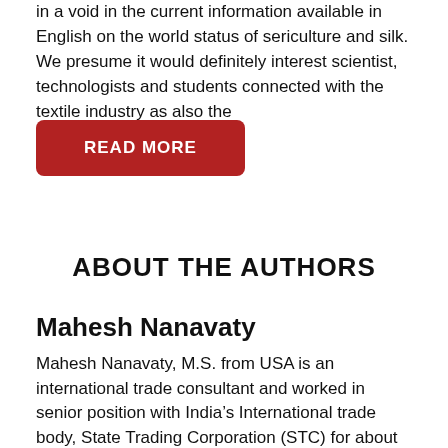in a void in the current information available in English on the world status of sericulture and silk. We presume it would definitely interest scientist, technologists and students connected with the textile industry as also the
READ MORE
ABOUT THE AUTHORS
Mahesh Nanavaty
Mahesh Nanavaty, M.S. from USA is an international trade consultant and worked in senior position with Indiaâs International trade body, State Trading Corporation (STC) for about 20 years and as a Director in an Indian textile unit. His unique
Rajat. K. Datta
Rajat. K. Datta, Ph.D. in genetics has excellent track record of silk research and was Director (Retd.) of